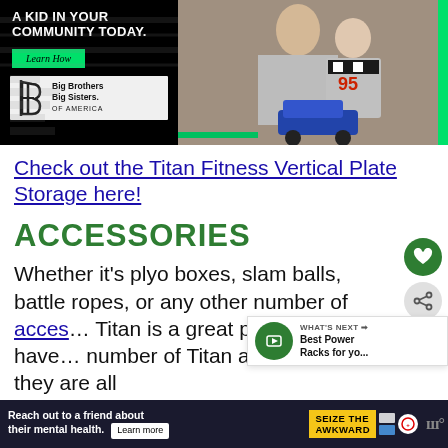[Figure (illustration): Big Brothers Big Sisters of America advertisement banner. Left side shows black background with text 'A KID IN YOUR COMMUNITY TODAY.' in white uppercase letters, a green 'Learn How' button, and the Big Brothers Big Sisters of America logo. Right side shows a photo of a man and child working with a robot/toy car with racing #95 theme. A green stripe on the right edge.]
Check out the Titan Fitness Vertical Plate Storage here!
ACCESSORIES
Whether it's plyo boxes, slam balls, battle ropes, or any other number of acces… Titan is a great place to look. I have… number of Titan accessories and they are all h…
[Figure (infographic): 'What's Next' recommendation card showing 'Best Power Racks for yo...' with a green circular thumbnail]
[Figure (photo): Footer advertisement: 'Reach out to a friend about their mental health. Learn more' with 'SEIZE THE AWKWARD' yellow badge and various sponsor logos on dark navy background]